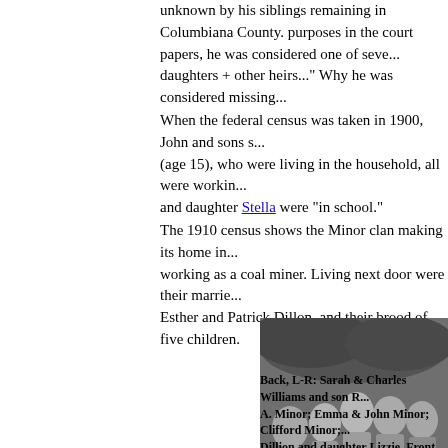unknown by his siblings remaining in Columbiana County. For purposes in the court papers, he was considered one of seve... daughters + other heirs..." Why he was considered missing...
When the federal census was taken in 1900, John and sons s... (age 15), who were living in the household, all were workin... and daughter Stella were "in school."
The 1910 census shows the Minor clan making its home in... working as a coal miner. Living next door were their marrie... Esther and Patrick Dillon, and their brood of five children.
[Figure (photo): Black and white group photograph of the Minor family and related individuals outdoors among foliage.]
Back, L-R: Sarah & Charles Williams and son R... A. Minor; Emma & John Minor; Clifford Minor;... Dillion and daughter Lizzie. Front, L-R: Clyde M...